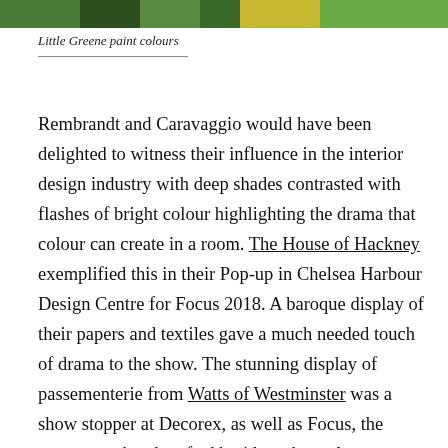[Figure (photo): Cropped top strip of colourful interior design image showing green and other paint colours]
Little Greene paint colours
Rembrandt and Caravaggio would have been delighted to witness their influence in the interior design industry with deep shades contrasted with flashes of bright colour highlighting the drama that colour can create in a room. The House of Hackney exemplified this in their Pop-up in Chelsea Harbour Design Centre for Focus 2018. A baroque display of their papers and textiles gave a much needed touch of drama to the show. The stunning display of passementerie from Watts of Westminster was a show stopper at Decorex, as well as Focus, the sumptuous hand crafted braids and tassels